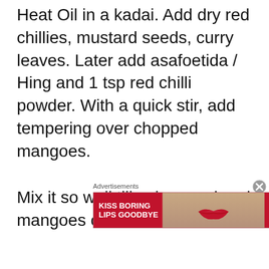Heat Oil in a kadai. Add dry red chillies, mustard seeds, curry leaves. Later add asafoetida / Hing and 1 tsp red chilli powder. With a quick stir, add tempering over chopped mangoes.
Mix it so well till spices and and mangoes combine so well.
Advertisements
[Figure (illustration): Advertisement banner for Macy's lipstick: 'Kiss Boring Lips Goodbye' with a woman's face showing red lips, and a 'Shop Now' button with the Macy's star logo.]